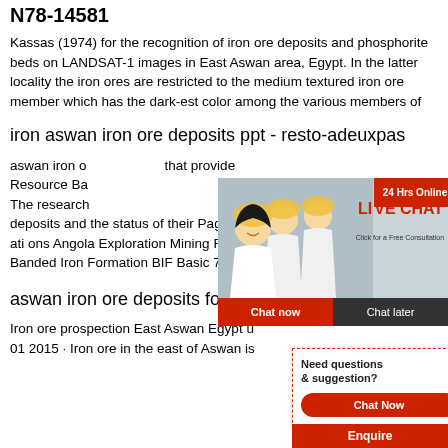N78-14581
Kassas (1974) for the recognition of iron ore deposits and phosphorite beds on LANDSAT-1 images in East Aswan area, Egypt. In the latter locality the iron ores are restricted to the medium textured iron ore member which has the dark-est color among the various members of
iron aswan iron ore deposits ppt - resto-adeuxpas
aswan iron ore deposits - that provide - Resource Ba... The research... deposits and the status of their Page iv T... ati ons Angola Exploration Mining Resou... Banded Iron Formation BIF Basic 71 11....
aswan iron ore deposits for sale
Iron ore prospection East Aswan Egypt u... 01 2015 · Iron ore in the east of Aswan is...
[Figure (screenshot): Live chat popup overlay with workers in hard hats on left side and a customer support woman with headset on the right. Contains 'LIVE CHAT' text in red, 'Click for a Free Consultation', 'Chat now' and 'Chat later' buttons, and '24 Hrs Online' badge.]